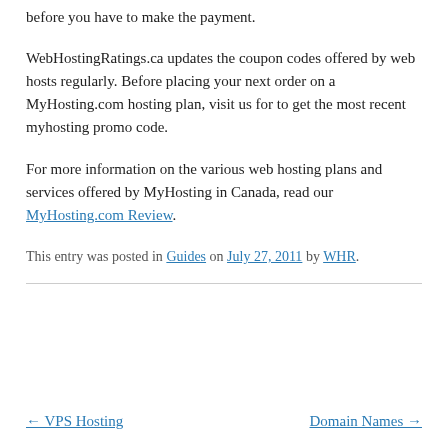before you have to make the payment.
WebHostingRatings.ca updates the coupon codes offered by web hosts regularly. Before placing your next order on a MyHosting.com hosting plan, visit us for to get the most recent myhosting promo code.
For more information on the various web hosting plans and services offered by MyHosting in Canada, read our MyHosting.com Review.
This entry was posted in Guides on July 27, 2011 by WHR.
← VPS Hosting
Domain Names →